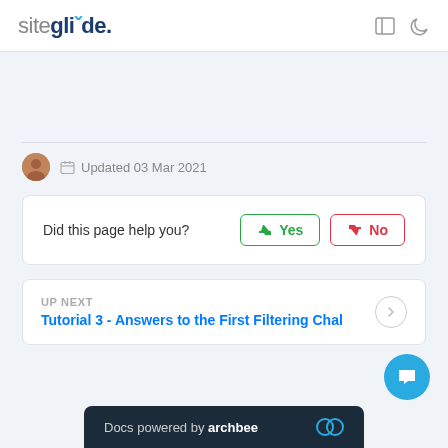siteglide.
Updated 03 Mar 2021
Did this page help you?  Yes  No
UP NEXT
Tutorial 3 - Answers to the First Filtering Chal
Docs powered by archbee